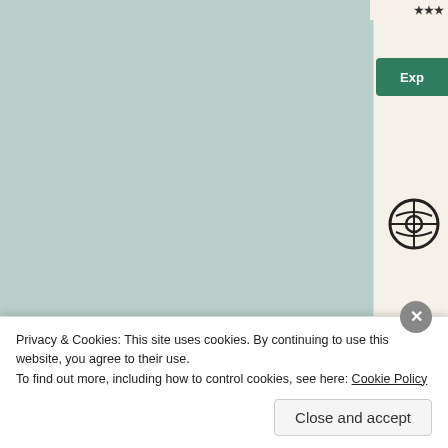[Figure (screenshot): Website screenshot showing Share and Like sections with social media buttons and avatar thumbnails, plus a sidebar with WordPress branding and an Explore button]
Share this:
Like this:
Privacy & Cookies: This site uses cookies. By continuing to use this website, you agree to their use.
To find out more, including how to control cookies, see here: Cookie Policy
Close and accept